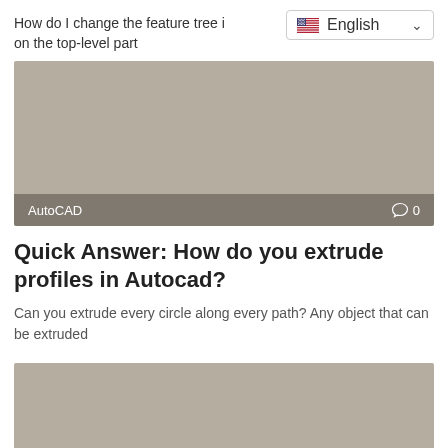How do I change the feature tree on the top-level part
[Figure (screenshot): Gray thumbnail image with AutoCAD label and comment icon showing 0 comments]
Quick Answer: How do you extrude profiles in Autocad?
Can you extrude every circle along every path? Any object that can be extruded
[Figure (screenshot): Gray thumbnail image at bottom of page]